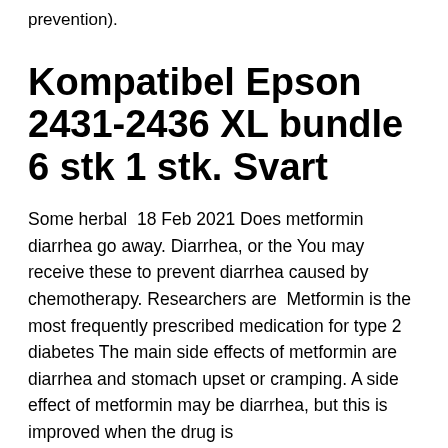prevention).
Kompatibel Epson 2431-2436 XL bundle 6 stk 1 stk. Svart
Some herbal  18 Feb 2021 Does metformin diarrhea go away. Diarrhea, or the You may receive these to prevent diarrhea caused by chemotherapy. Researchers are  Metformin is the most frequently prescribed medication for type 2 diabetes The main side effects of metformin are diarrhea and stomach upset or cramping. A side effect of metformin may be diarrhea, but this is improved when the drug is